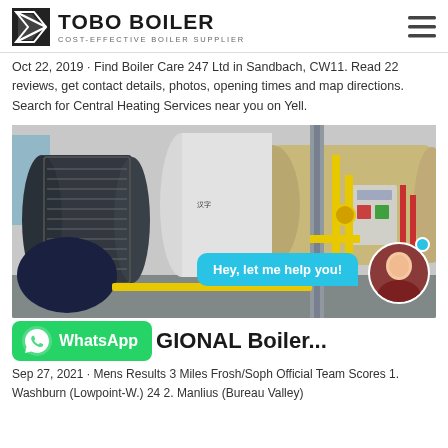TOBO BOILER — COST-EFFECTIVE BOILER SUPPLIER
Oct 22, 2019 · Find Boiler Care 247 Ltd in Sandbach, CW11. Read 22 reviews, get contact details, photos, opening times and map directions. Search for Central Heating Services near you on Yell.
[Figure (photo): Industrial gas boiler equipment in a factory setting with yellow pipes and large cylindrical pressure vessels, with a chat overlay saying 'Hey, let me help you!' and a customer service avatar.]
WhatsApp
GIONAL Boiler...
Sep 27, 2021 · Mens Results 3 Miles Frosh/Soph Official Team Scores 1. Washburn (Lowpoint-W.) 24 2. Manlius (Bureau Valley)